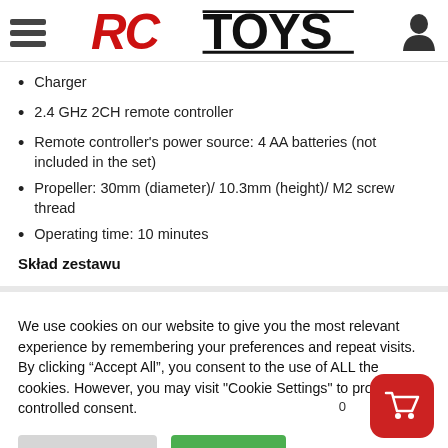[Figure (logo): RCTOYS logo with hamburger menu icon on left and user/profile icon on right]
Charger
2.4 GHz 2CH remote controller
Remote controller's power source: 4 AA batteries (not included in the set)
Propeller: 30mm (diameter)/ 10.3mm (height)/ M2 screw thread
Operating time: 10 minutes
Skład zestawu
We use cookies on our website to give you the most relevant experience by remembering your preferences and repeat visits. By clicking “Accept All”, you consent to the use of ALL the cookies. However, you may visit "Cookie Settings" to provide a controlled consent.
Cookie Settings   Accept All